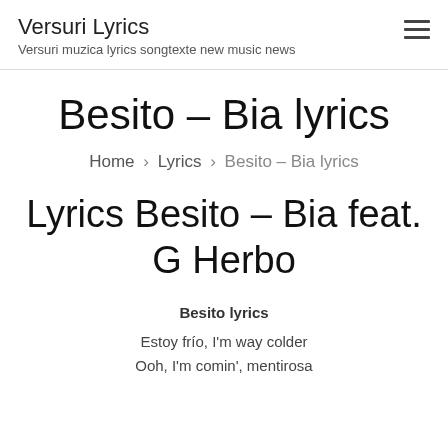Versuri Lyrics
Versuri muzica lyrics songtexte new music news
Besito – Bia lyrics
Home › Lyrics › Besito – Bia lyrics
Lyrics Besito – Bia feat. G Herbo
Besito lyrics
Estoy frío, I'm way colder
Ooh, I'm comin', mentirosa